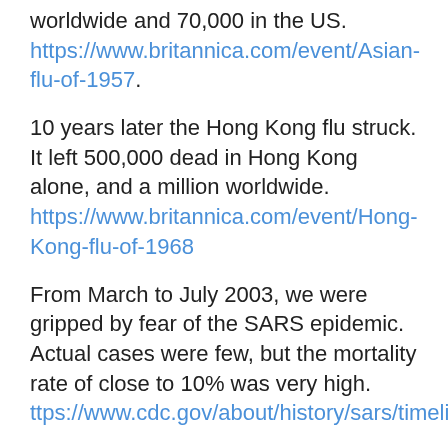worldwide and 70,000 in the US. https://www.britannica.com/event/Asian-flu-of-1957.
10 years later the Hong Kong flu struck. It left 500,000 dead in Hong Kong alone, and a million worldwide. https://www.britannica.com/event/Hong-Kong-flu-of-1968
From March to July 2003, we were gripped by fear of the SARS epidemic. Actual cases were few, but the mortality rate of close to 10% was very high. ttps://www.cdc.gov/about/history/sars/timeline.htm.
And of course, millions died of HIV/AIDS in the 1980s and 90s.